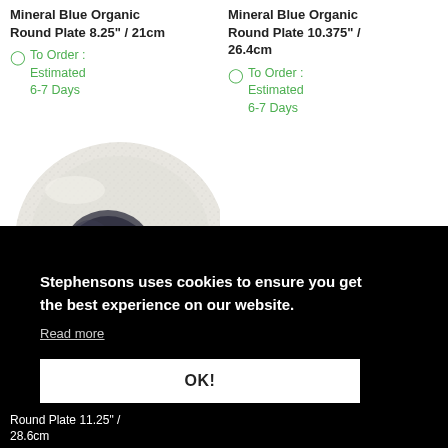Mineral Blue Organic Round Plate 8.25" / 21cm
To Order : Estimated 6-7 Days
Mineral Blue Organic Round Plate 10.375" / 26.4cm
To Order : Estimated 6-7 Days
[Figure (photo): Top-down view of a ceramic round plate with speckled white glaze and a dark blue/grey center mineral pattern]
Stephensons uses cookies to ensure you get the best experience on our website.
Read more
OK!
Round Plate 11.25" / 28.6cm